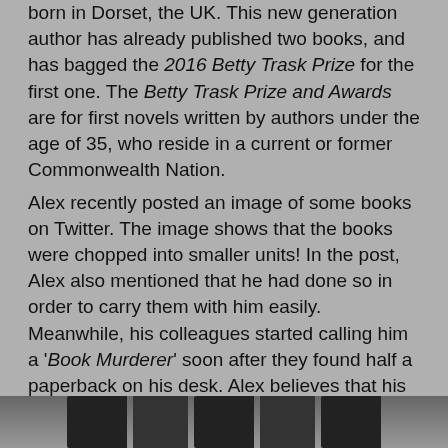born in Dorset, the UK. This new generation author has already published two books, and has bagged the 2016 Betty Trask Prize for the first one. The Betty Trask Prize and Awards are for first novels written by authors under the age of 35, who reside in a current or former Commonwealth Nation.
Alex recently posted an image of some books on Twitter. The image shows that the books were chopped into smaller units! In the post, Alex also mentioned that he had done so in order to carry them with him easily. Meanwhile, his colleagues started calling him a 'Book Murderer' soon after they found half a paperback on his desk. Alex believes that his colleagues overreacted. "When I posted a picture of my latest victims on Twitter, it started trending next to Jess Phillips – who had real news to share. People were replying in other languages, copying in the International Criminal Court, the FBI and the Metropolitan police. Others suggested chopping me in half," he added.
[Figure (photo): Bottom strip showing books or a dark object, partially visible at the bottom of the page]